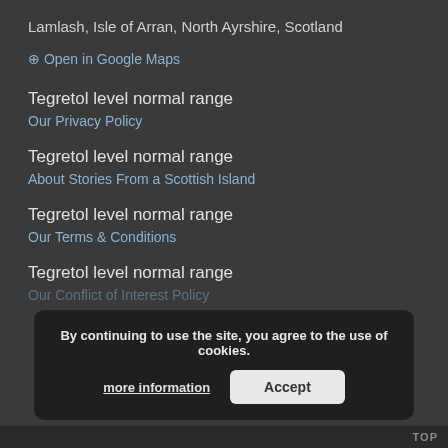Lamlash, Isle of Arran, North Ayrshire, Scotland
⊕ Open in Google Maps
Tegretol level normal range
Our Privacy Policy
Tegretol level normal range
About Stories From a Scottish Island
Tegretol level normal range
Our Terms & Conditions
Tegretol level normal range
Our Conflict of Interest Policy
By continuing to use the site, you agree to the use of cookies. more information Accept